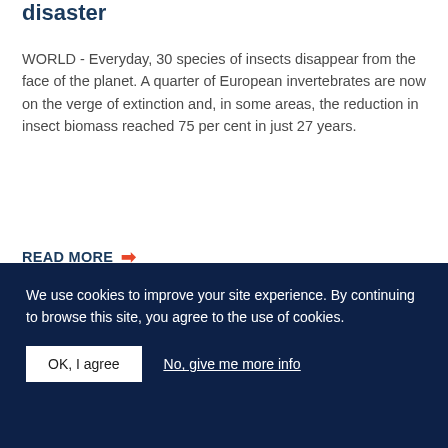disaster
WORLD - Everyday, 30 species of insects disappear from the face of the planet. A quarter of European invertebrates are now on the verge of extinction and, in some areas, the reduction in insect biomass reached 75 per cent in just 27 years.
READ MORE →
[Figure (photo): Close-up photograph of pink wildflowers (possibly thyme or similar small flowering plant) against a blurred brown/grey background, with another cluster of similar flowers visible in the upper right.]
We use cookies to improve your site experience. By continuing to browse this site, you agree to the use of cookies.
OK, I agree   No, give me more info